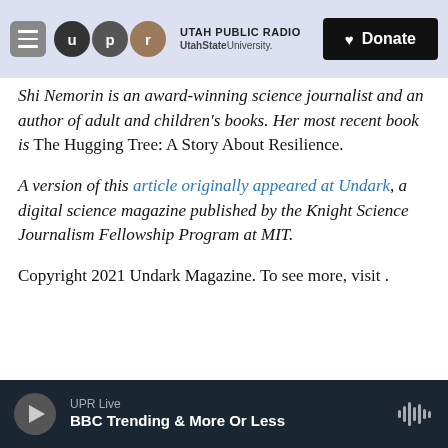Utah Public Radio — UtahState University | Donate
Shi NeMorin is an award-winning science journalist and an author of adult and children's books. Her most recent book is The Hugging Tree: A Story About Resilience.
A version of this article originally appeared at Undark, a digital science magazine published by the Knight Science Journalism Fellowship Program at MIT.
Copyright 2021 Undark Magazine. To see more, visit .
UPR Live — BBC Trending & More Or Less